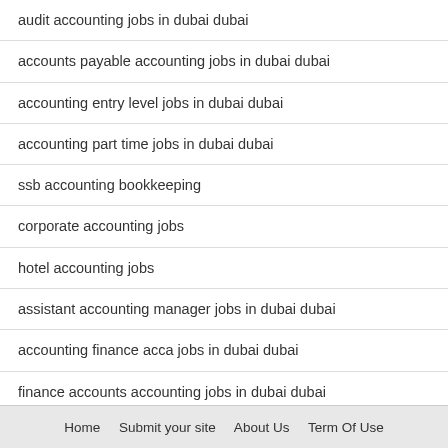audit accounting jobs in dubai dubai
accounts payable accounting jobs in dubai dubai
accounting entry level jobs in dubai dubai
accounting part time jobs in dubai dubai
ssb accounting bookkeeping
corporate accounting jobs
hotel accounting jobs
assistant accounting manager jobs in dubai dubai
accounting finance acca jobs in dubai dubai
finance accounts accounting jobs in dubai dubai
finance accounting manager jobs
Home   Submit your site   About Us   Term Of Use